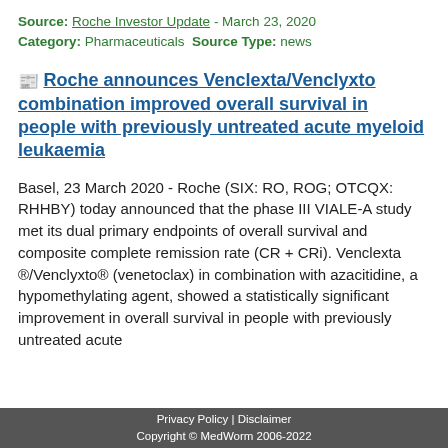Source: Roche Investor Update - March 23, 2020 Category: Pharmaceuticals Source Type: news
Roche announces Venclexta/Venclyxto combination improved overall survival in people with previously untreated acute myeloid leukaemia
Basel, 23 March 2020 - Roche (SIX: RO, ROG; OTCQX: RHHBY) today announced that the phase III VIALE-A study met its dual primary endpoints of overall survival and composite complete remission rate (CR + CRi). Venclexta ®/Venclyxto® (venetoclax) in combination with azacitidine, a hypomethylating agent, showed a statistically significant improvement in overall survival in people with previously untreated acute
Privacy Policy | Disclaimer Copyright © MedWorm 2006-2022